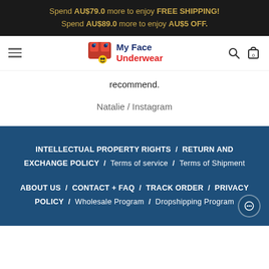Spend AU$79.0 more to enjoy FREE SHIPPING! Spend AU$89.0 more to enjoy AU$5 OFF.
[Figure (logo): My Face Underwear logo with cartoon underwear icon and navigation bar with hamburger menu, search, and cart icons]
recommend.
Natalie / Instagram
INTELLECTUAL PROPERTY RIGHTS / RETURN AND EXCHANGE POLICY / Terms of service / Terms of Shipment  ABOUT US / CONTACT + FAQ / TRACK ORDER / PRIVACY POLICY / Wholesale Program / Dropshipping Program